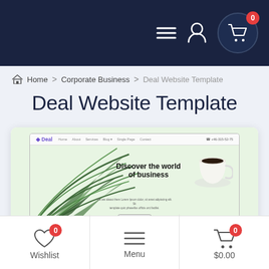Navigation bar with menu, user, and cart icons (0 items)
Home > Corporate Business > Deal Website Template
Deal Website Template
[Figure (screenshot): Screenshot of the Deal Website Template showing a corporate business website with a green-tinted hero section featuring palm leaves, a coffee cup, and the headline 'Discover the world of business']
Wishlist 0 | Menu | $0.00 0